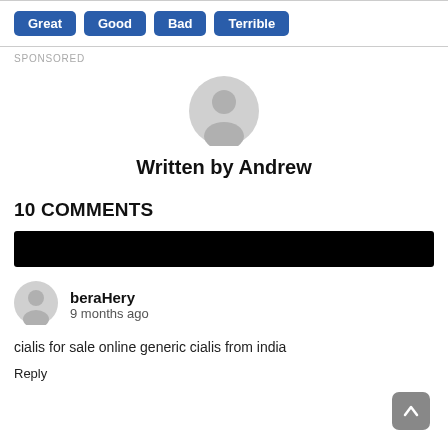[Figure (other): Row of rating buttons: Great, Good, Bad, Terrible — blue rounded rectangles with white bold text]
SPONSORED
[Figure (other): Gray default user avatar (circle with person silhouette)]
Written by Andrew
10 COMMENTS
[Figure (other): Black redacted/blurred bar (content hidden)]
[Figure (other): Gray default user avatar for commenter beraHery]
beraHery
9 months ago
cialis for sale online generic cialis from india
Reply